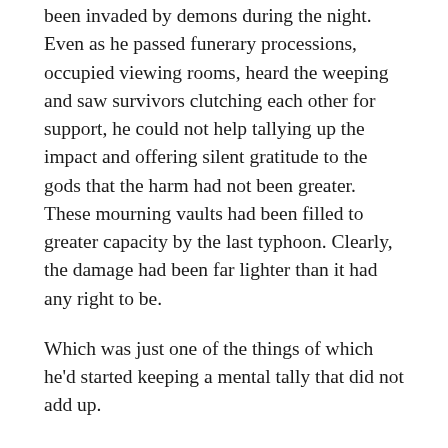been invaded by demons during the night. Even as he passed funerary processions, occupied viewing rooms, heard the weeping and saw survivors clutching each other for support, he could not help tallying up the impact and offering silent gratitude to the gods that the harm had not been greater. These mourning vaults had been filled to greater capacity by the last typhoon. Clearly, the damage had been far lighter than it had any right to be.
Which was just one of the things of which he'd started keeping a mental tally that did not add up.
He was joined by another welcome face as he retreated further into the temple complex. Sayid was an older man and one of those within the Brethren whom Val trusted most, a priest whose vocation was ministering to the grieving, and who had been responsible for Val's own training in that aspect of their faith in his youth. Though the Brethren had no formal uniform, Sayid was dressed as